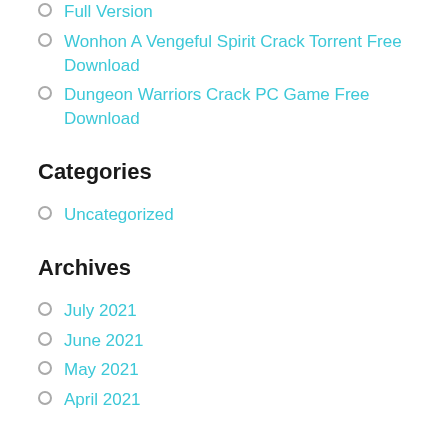Full Version
Wonhon A Vengeful Spirit Crack Torrent Free Download
Dungeon Warriors Crack PC Game Free Download
Categories
Uncategorized
Archives
July 2021
June 2021
May 2021
April 2021